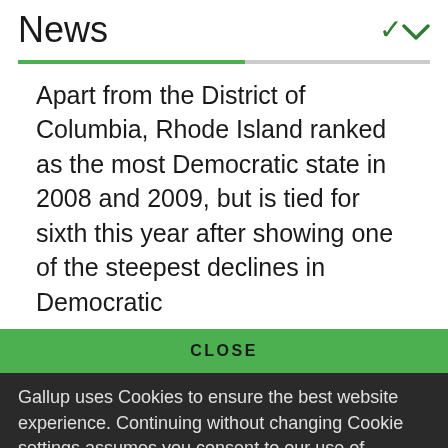News
Apart from the District of Columbia, Rhode Island ranked as the most Democratic state in 2008 and 2009, but is tied for sixth this year after showing one of the steepest declines in Democratic
CLOSE
Gallup uses Cookies to ensure the best website experience. Continuing without changing Cookie settings assumes you consent to our use of cookies on this device. You can change this setting at any time, but that may impair functionality on our websites.
Privacy Statement   Site Terms of Use and Sale
Product Terms of Use   Adjust your cookie settings.